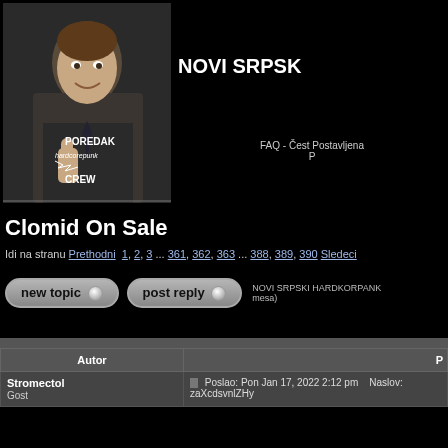[Figure (photo): Photo of a man in a suit smiling and pointing, with text overlay 'POREDAK hardcorepunk CREW']
NOVI SRPSKI HARDKORPANK
FAQ - Čest Postavljena P
Clomid On Sale
Idi na stranu Prethodni 1, 2, 3 ... 361, 362, 363 ... 388, 389, 390 Sledeci
NOVI SRPSKI HARDKORPANK... mesa)
| Autor | P |
| --- | --- |
| Stromectol
Gost | Poslao: Pon Jan 17, 2022 2:12 pm   Naslov: zaXcdsvnlZHy |